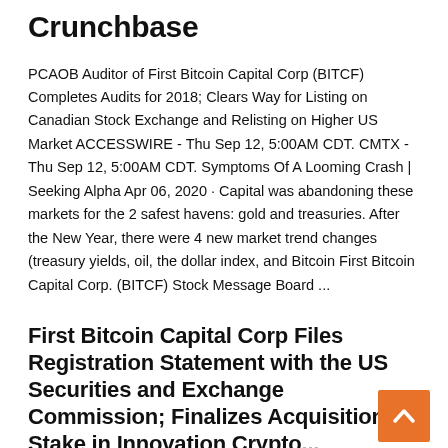Crunchbase
PCAOB Auditor of First Bitcoin Capital Corp (BITCF) Completes Audits for 2018; Clears Way for Listing on Canadian Stock Exchange and Relisting on Higher US Market ACCESSWIRE - Thu Sep 12, 5:00AM CDT. CMTX - Thu Sep 12, 5:00AM CDT. Symptoms Of A Looming Crash | Seeking Alpha Apr 06, 2020 · Capital was abandoning these markets for the 2 safest havens: gold and treasuries. After the New Year, there were 4 new market trend changes (treasury yields, oil, the dollar index, and Bitcoin First Bitcoin Capital Corp. (BITCF) Stock Message Board ...
First Bitcoin Capital Corp Files Registration Statement with the US Securities and Exchange Commission; Finalizes Acquisition of Stake in Innovation Crypto...